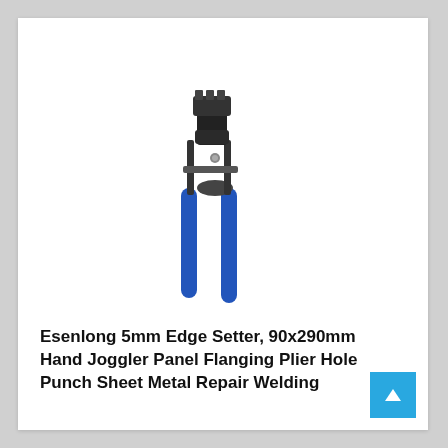[Figure (photo): A hand joggler/flanging plier tool with black metal head and blue rubber-grip handles, viewed at a slight angle. The tool resembles pliers with an upper jaw mechanism for sheet metal work.]
Esenlong 5mm Edge Setter, 90x290mm Hand Joggler Panel Flanging Plier Hole Punch Sheet Metal Repair Welding